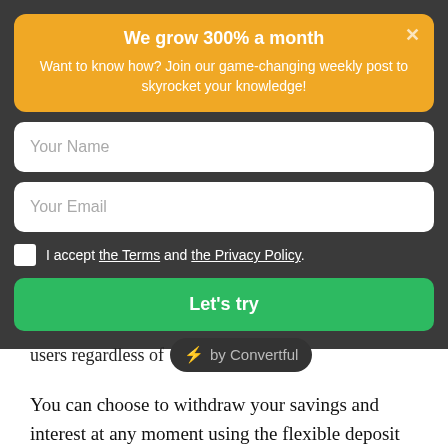We grow 300% a month
Want to know how? Join our game-changing weekly post to skyrocket your knowledge!
Your Name
Your Email
I accept the Terms and the Privacy Policy.
Let's try
users regardless of ⚡ by Convertful
You can choose to withdraw your savings and interest at any moment using the flexible deposit option.
On the other hand, the fixed deposit allows you to